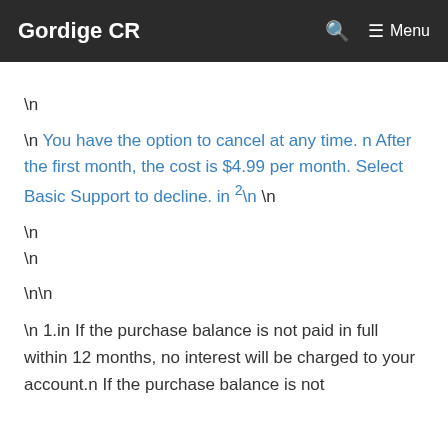Gordige CR  Menu
\n
\n You have the option to cancel at any time. n After the first month, the cost is $4.99 per month. Select Basic Support to decline. in 2\n \n
\n
\n
\n\n
\n 1.in If the purchase balance is not paid in full within 12 months, no interest will be charged to your account.n If the purchase balance is not